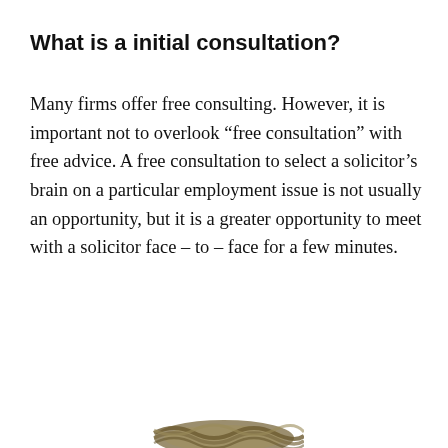What is a initial consultation?
Many firms offer free consulting. However, it is important not to overlook “free consultation” with free advice. A free consultation to select a solicitor’s brain on a particular employment issue is not usually an opportunity, but it is a greater opportunity to meet with a solicitor face – to – face for a few minutes.
[Figure (photo): Partial view of a rope or twisted cord at the bottom of the page]